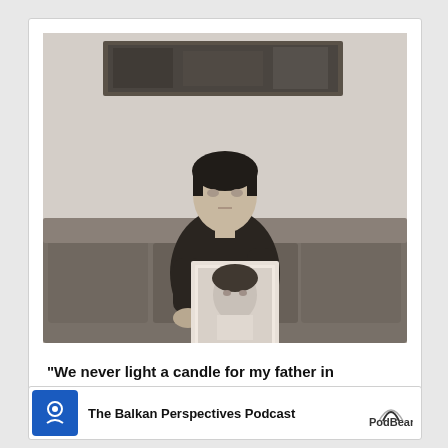[Figure (photo): Black and white photograph of a woman sitting on a couch holding up a framed portrait photograph of a man. There is artwork on the wall behind her.]
“We never light a candle for my father in remembrance of his death”
[Figure (logo): The Balkan Perspectives Podcast banner with blue icon on left and PodBean logo on right]